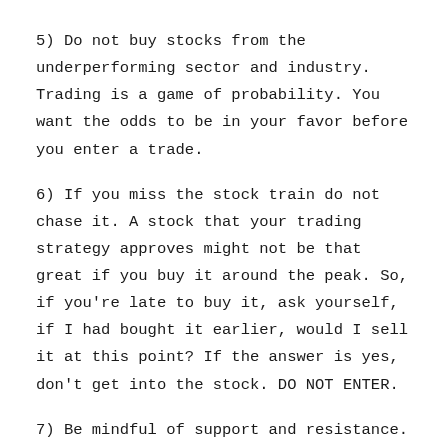5) Do not buy stocks from the underperforming sector and industry. Trading is a game of probability. You want the odds to be in your favor before you enter a trade.
6) If you miss the stock train do not chase it. A stock that your trading strategy approves might not be that great if you buy it around the peak. So, if you're late to buy it, ask yourself, if I had bought it earlier, would I sell it at this point? If the answer is yes, don't get into the stock. DO NOT ENTER.
7) Be mindful of support and resistance. Do not buy a stock near either of these extremes. Wait until the stock breaks through the price levels.